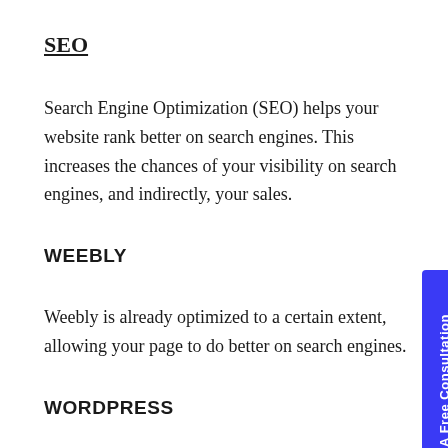SEO
Search Engine Optimization (SEO) helps your website rank better on search engines. This increases the chances of your visibility on search engines, and indirectly, your sales.
WEEBLY
Weebly is already optimized to a certain extent, allowing your page to do better on search engines.
WORDPRESS
You would have to install plugins for managing your